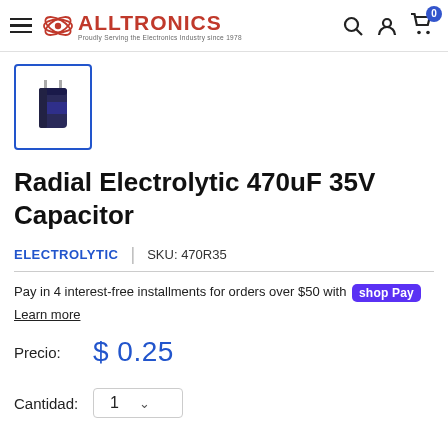ALLTRONICS — Proudly Serving the Electronics Industry since 1978
[Figure (photo): Thumbnail image of a radial electrolytic capacitor (dark blue cylindrical component with leads), shown in a blue-bordered selection box]
Radial Electrolytic 470uF 35V Capacitor
ELECTROLYTIC | SKU: 470R35
Pay in 4 interest-free installments for orders over $50 with Shop Pay
Learn more
Precio: $ 0.25
Cantidad: 1